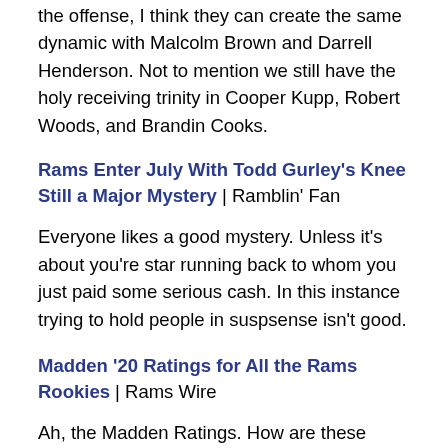the offense, I think they can create the same dynamic with Malcolm Brown and Darrell Henderson. Not to mention we still have the holy receiving trinity in Cooper Kupp, Robert Woods, and Brandin Cooks.
Rams Enter July With Todd Gurley's Knee Still a Major Mystery | Ramblin' Fan
Everyone likes a good mystery. Unless it's about you're star running back to whom you just paid some serious cash. In this instance trying to hold people in suspsense isn't good.
Madden '20 Ratings for All the Rams Rookies | Rams Wire
Ah, the Madden Ratings. How are these things actually decided? If you know, hit me up on Twitter.